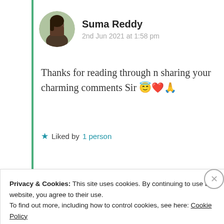Suma Reddy
2nd Jun 2021 at 1:58 pm
Thanks for reading through n sharing your charming comments Sir 😇❤️🙏
★ Liked by 1 person
Log in to Reply
Advertisements
[Figure (screenshot): Dark advertisement banner with text 'Turn your blog into a business' and a right arrow]
Privacy & Cookies: This site uses cookies. By continuing to use this website, you agree to their use. To find out more, including how to control cookies, see here: Cookie Policy
Close and accept